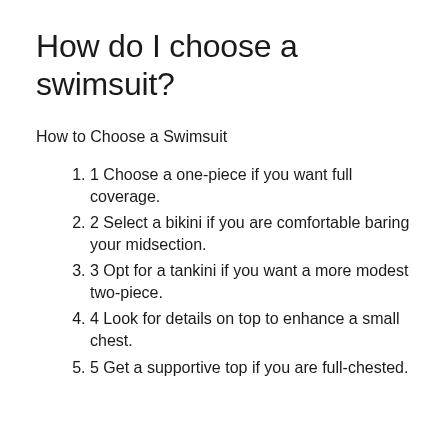How do I choose a swimsuit?
How to Choose a Swimsuit
1 Choose a one-piece if you want full coverage.
2 Select a bikini if you are comfortable baring your midsection.
3 Opt for a tankini if you want a more modest two-piece.
4 Look for details on top to enhance a small chest.
5 Get a supportive top if you are full-chested.